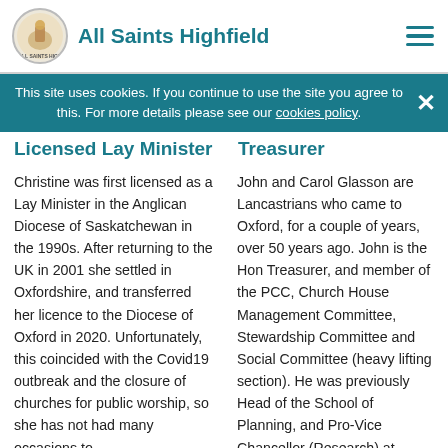All Saints Highfield
This site uses cookies. If you continue to use the site you agree to this. For more details please see our cookies policy.
Licensed Lay Minister
Treasurer
Christine was first licensed as a Lay Minister in the Anglican Diocese of Saskatchewan in the 1990s. After returning to the UK in 2001 she settled in Oxfordshire, and transferred her licence to the Diocese of Oxford in 2020. Unfortunately, this coincided with the Covid19 outbreak and the closure of churches for public worship, so she has not had many occasions to
John and Carol Glasson are Lancastrians who came to Oxford, for a couple of years, over 50 years ago. John is the Hon Treasurer, and member of the PCC, Church House Management Committee, Stewardship Committee and Social Committee (heavy lifting section). He was previously Head of the School of Planning, and Pro-Vice Chancellor (Research) at Oxford